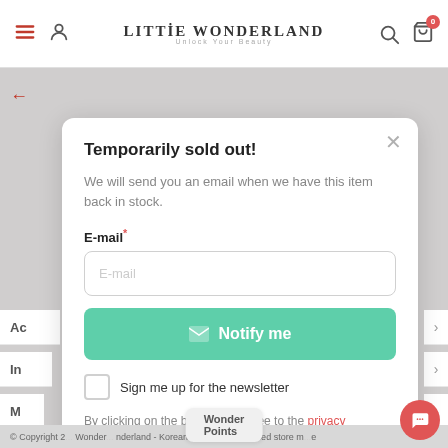Little Wonderland - Unlock Your Beauty
Temporarily sold out!
We will send you an email when we have this item back in stock.
E-mail*
E-mail (input placeholder)
Notify me (button)
Sign me up for the newsletter
By clicking on the button you agree to the privacy conditions.
© Copyright 2... Wonder... nderland - Korean skincare specialized store m... Wonder Points